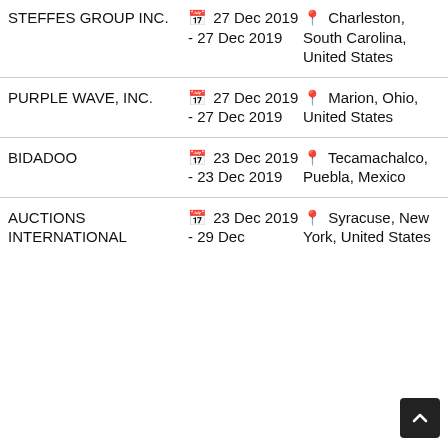STEFFES GROUP INC. | 27 Dec 2019 - 27 Dec 2019 | Charleston, South Carolina, United States
PURPLE WAVE, INC. | 27 Dec 2019 - 27 Dec 2019 | Marion, Ohio, United States
BIDADOO | 23 Dec 2019 - 23 Dec 2019 | Tecamachalco, Puebla, Mexico
AUCTIONS INTERNATIONAL | 23 Dec 2019 - 29 Dec 2019 | Syracuse, New York, United States